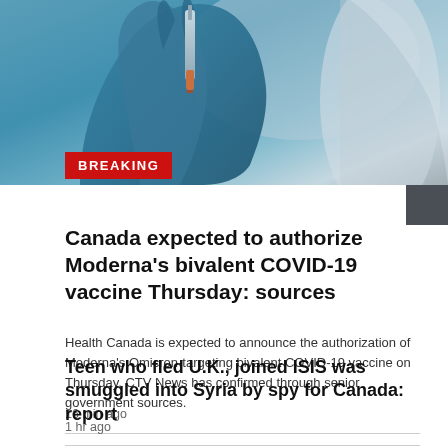[Figure (photo): A gloved hand holding a medical vial/syringe against a blurred background]
BREAKING
Canada expected to authorize Moderna's bivalent COVID-19 vaccine Thursday: sources
Health Canada is expected to announce the authorization of Moderna's Omicron-targeting bivalent COVID-19 vaccine on Thursday, CTV News has confirmed through senior government sources.
16 min ago
Teen who fled U.K., joined ISIS was smuggled into Syria by spy for Canada: report
1 hr ago